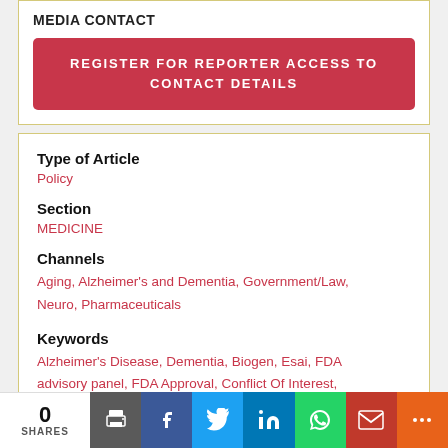MEDIA CONTACT
REGISTER FOR REPORTER ACCESS TO CONTACT DETAILS
Type of Article
Policy
Section
MEDICINE
Channels
Aging, Alzheimer's and Dementia, Government/Law, Neuro, Pharmaceuticals
Keywords
Alzheimer's Disease, Dementia, Biogen, Esai, FDA advisory panel, FDA Approval, Conflict Of Interest,
0 SHARES